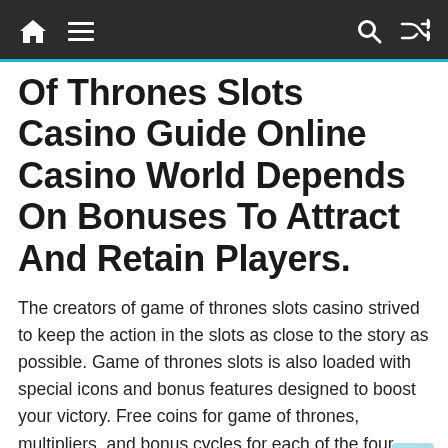Navigation bar with home, menu, search, and shuffle icons
Of Thrones Slots Casino Guide Online Casino World Depends On Bonuses To Attract And Retain Players.
The creators of game of thrones slots casino strived to keep the action in the slots as close to the story as possible. Game of thrones slots is also loaded with special icons and bonus features designed to boost your victory. Free coins for game of thrones, multipliers, and bonus cycles for each of the four houses.